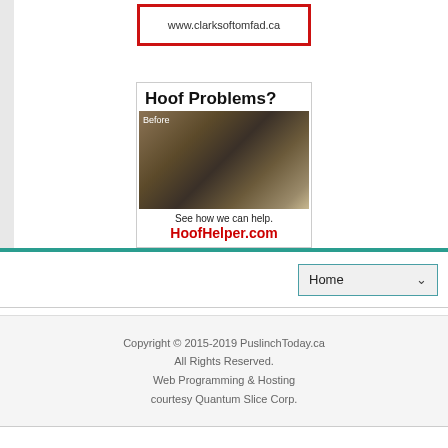[Figure (other): Advertisement for clarksoftomfad.ca showing URL text in a red-bordered box]
[Figure (other): Advertisement for HoofHelper.com showing 'Hoof Problems?' heading, a before photo of a hoof, tagline 'See how we can help.' and URL HoofHelper.com in red]
Home
Copyright © 2015-2019 PuslinchToday.ca
All Rights Reserved.
Web Programming & Hosting
courtesy Quantum Slice Corp.